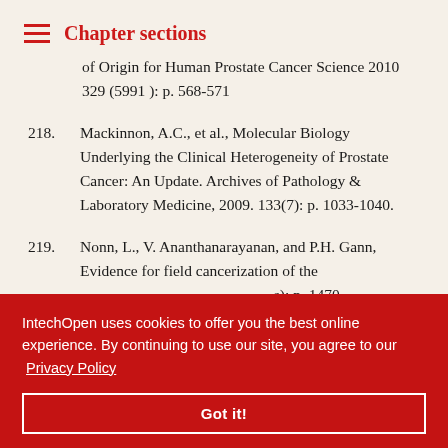Chapter sections
of Origin for Human Prostate Cancer Science 2010 329 (5991 ): p. 568-571
218. Mackinnon, A.C., et al., Molecular Biology Underlying the Clinical Heterogeneity of Prostate Cancer: An Update. Archives of Pathology & Laboratory Medicine, 2009. 133(7): p. 1033-1040.
219. Nonn, L., V. Ananthanarayanan, and P.H. Gann, Evidence for field cancerization of the [obscured]: p. 1470-
[obscured] sion of [obscured] actor genes [obscured] 310(5748): p.
IntechOpen uses cookies to offer you the best online experience. By continuing to use our site, you agree to our Privacy Policy
Got it!